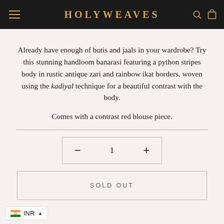HOLYWEAVES
Already have enough of butis and jaals in your wardrobe? Try this stunning handloom banarasi featuring a python stripes body in rustic antique zari and rainbow ikat borders, woven using the kadiyal technique for a beautiful contrast with the body.
Comes with a contrast red blouse piece.
[Figure (other): Quantity selector showing minus button, 1, plus button inside a bordered box]
[Figure (other): Sold Out button — bordered rectangle with SOLD OUT text in spaced caps]
INR